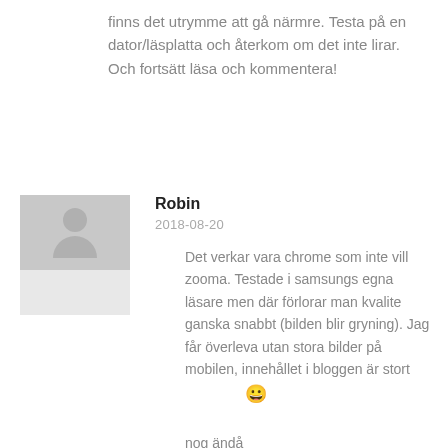finns det utrymme att gå närmre. Testa på en dator/läsplatta och återkom om det inte lirar. Och fortsätt läsa och kommentera!
Robin
2018-08-20
Det verkar vara chrome som inte vill zooma. Testade i samsungs egna läsare men där förlorar man kvalite ganska snabbt (bilden blir gryning). Jag får överleva utan stora bilder på mobilen, innehållet i bloggen är stort 😀 nog ändå